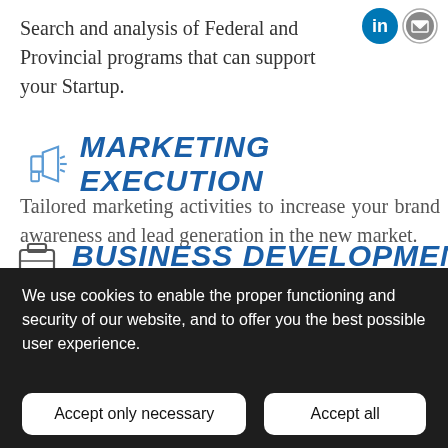Search and analysis of Federal and Provincial programs that can support your Startup.
MARKETING EXECUTION
Tailored marketing activities to increase your brand awareness and lead generation in the new market.
BUSINESS DEVELOPMENT
We use cookies to enable the proper functioning and security of our website, and to offer you the best possible user experience.
Accept only necessary
Accept all